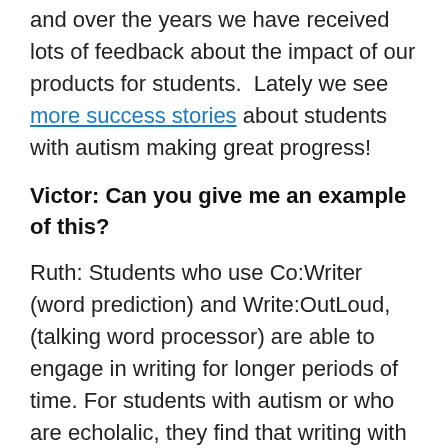and over the years we have received lots of feedback about the impact of our products for students. Lately we see more success stories about students with autism making great progress!
Victor: Can you give me an example of this?
Ruth: Students who use Co:Writer (word prediction) and Write:OutLoud, (talking word processor) are able to engage in writing for longer periods of time. For students with autism or who are echolalic, they find that writing with these tools is a great way to